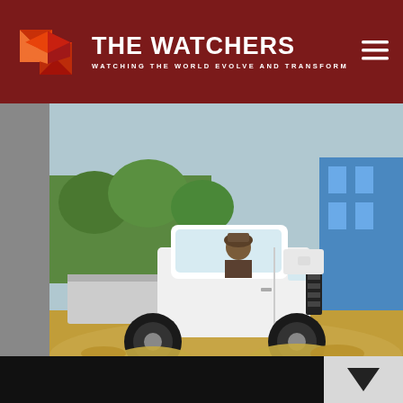THE WATCHERS — WATCHING THE WORLD EVOLVE AND TRANSFORM
[Figure (photo): White pickup truck driving through deep floodwaters on a street, with brown muddy water splashing around the wheels, buildings visible in the background]
Record rain hits Argentina Bolivia
Thursday, Janua...
We use cookies on our website to give you the most relevant experience by remembering your preferences and repeat visits. By clicking “Accept”, you consent to the use of ALL the cookies.
Do not sell my personal information.